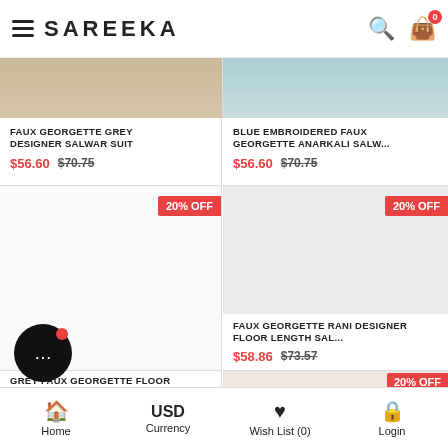SAREEKA
[Figure (screenshot): Partial product image top-left: grey/beige fabric garment]
FAUX GEORGETTE GREY DESIGNER SALWAR SUIT
$56.60  $70.75
[Figure (screenshot): Partial product image top-right: blue embroidered garment]
BLUE EMBROIDERED FAUX GEORGETTE ANARKALI SALW...
$56.60  $70.75
20% OFF
[Figure (photo): White/blank product image area for grey faux georgette floor length salwar suit]
20% OFF
[Figure (photo): Light grey/blank product image area for faux georgette rani designer floor length salwar]
FAUX GEORGETTE RANI DESIGNER FLOOR LENGTH SAL...
$58.86  $73.57
[Figure (photo): Chat bubble overlay icon, black circle with three dots and red notification dot]
GREY FAUX GEORGETTE FLOOR LENGTH SALWAR SUIT
20% OFF
[Figure (photo): Partial visible product image bottom-right: woman in light garment]
Home  USD Currency  Wish List (0)  Login